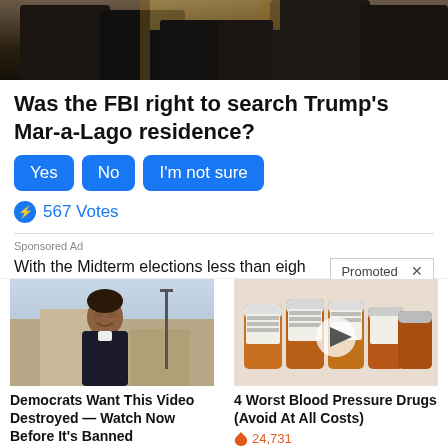[Figure (photo): Top portion of a photo showing people in dark suits, one person pointing]
Was the FBI right to search Trump's Mar-a-Lago residence?
Yes  No  I'm not sure
567 Votes
Sponsored Ad
With the Midterm elections less than eigh
Promoted X
[Figure (photo): Woman in dark jacket smiling outdoors near a building]
Democrats Want This Video Destroyed — Watch Now Before It's Banned
26,374
[Figure (photo): Multiple prescription medicine bottles with a video play button overlay]
4 Worst Blood Pressure Drugs (Avoid At All Costs)
24,731